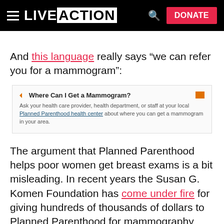LIVE ACTION | DONATE
And this language really says “we can refer you for a mammogram”:
[Figure (screenshot): Screenshot of a Planned Parenthood webpage section titled 'Where Can I Get a Mammogram?' with text: 'Ask your health care provider, health department, or staff at your local Planned Parenthood health center about where you can get a mammogram in your area.']
The argument that Planned Parenthood helps poor women get breast exams is a bit misleading. In recent years the Susan G. Komen Foundation has come under fire for giving hundreds of thousands of dollars to Planned Parenthood for mammography services. Sort of. It gives money to the abortion provider, who then issues a voucher for the woman